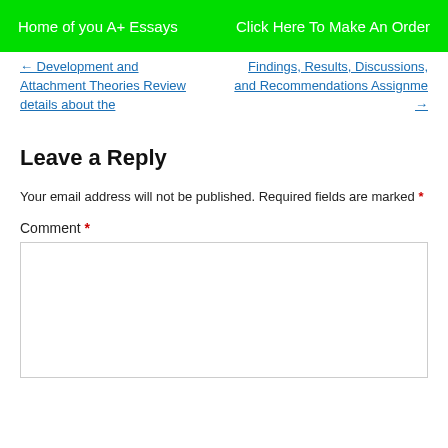Home of you A+ Essays   Click Here To Make An Order
← Development and Attachment Theories Review details about the
Findings, Results, Discussions, and Recommendations Assignme →
Leave a Reply
Your email address will not be published. Required fields are marked *
Comment *